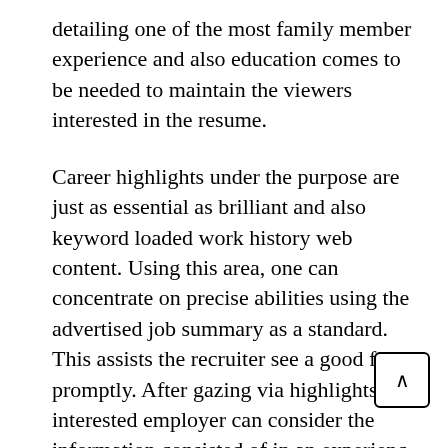detailing one of the most family member experience and also education comes to be needed to maintain the viewers interested in the resume.
Career highlights under the purpose are just as essential as brilliant and also keyword loaded work history web content. Using this area, one can concentrate on precise abilities using the advertised job summary as a standard. This assists the recruiter see a good fit promptly. After gazing via highlights, an interested employer can consider the information consisted of in an experience area of a resume.